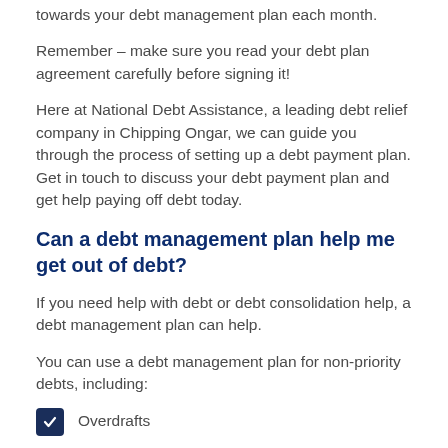towards your debt management plan each month.
Remember – make sure you read your debt plan agreement carefully before signing it!
Here at National Debt Assistance, a leading debt relief company in Chipping Ongar, we can guide you through the process of setting up a debt payment plan. Get in touch to discuss your debt payment plan and get help paying off debt today.
Can a debt management plan help me get out of debt?
If you need help with debt or debt consolidation help, a debt management plan can help.
You can use a debt management plan for non-priority debts, including:
Overdrafts